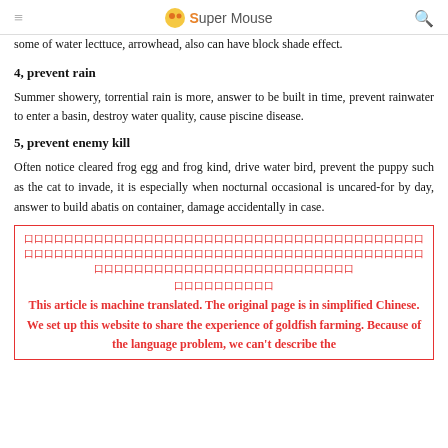Super Mouse
some of water lecttuce, arrowhead, also can have block shade effect.
4, prevent rain
Summer showery, torrential rain is more, answer to be built in time, prevent rainwater to enter a basin, destroy water quality, cause piscine disease.
5, prevent enemy kill
Often notice cleared frog egg and frog kind, drive water bird, prevent the puppy such as the cat to invade, it is especially when nocturnal occasional is uncared-for by day, answer to build abatis on container, damage accidentally in case.
（Chinese characters row）
This article is machine translated. The original page is in simplified Chinese. We set up this website to share the experience of goldfish farming. Because of the language problem, we can't describe the